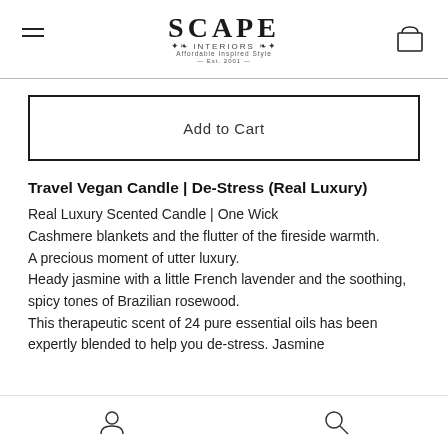SCAPE INTERIORS — Affordable Inspired Style — Est. 2001
Add to Cart
Travel Vegan Candle | De-Stress (Real Luxury)
Real Luxury Scented Candle | One Wick
Cashmere blankets and the flutter of the fireside warmth.
A precious moment of utter luxury.
Heady jasmine with a little French lavender and the soothing, spicy tones of Brazilian rosewood.
This therapeutic scent of 24 pure essential oils has been expertly blended to help you de-stress. Jasmine
User icon | Search icon